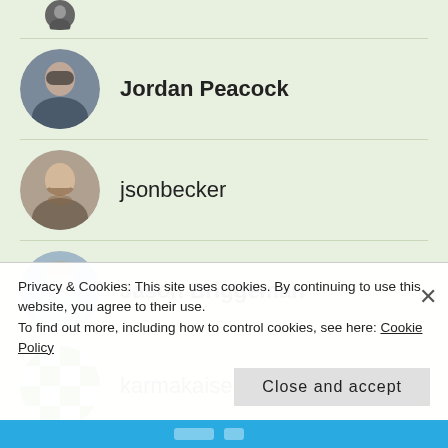[Figure (photo): Partial avatar of a person at the top, cropped]
Jordan Peacock
jsonbecker
Jason Briggeman
karmakaiser
Privacy & Cookies: This site uses cookies. By continuing to use this website, you agree to their use.
To find out more, including how to control cookies, see here: Cookie Policy
Close and accept